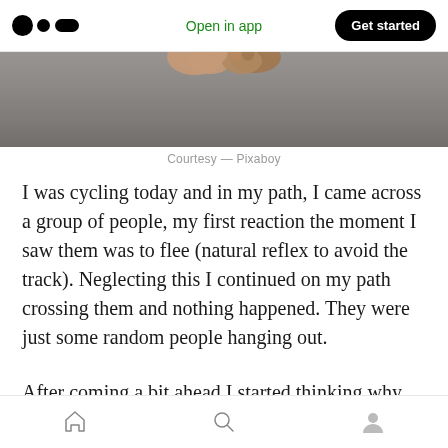Open in app  Get started
[Figure (photo): Partial view of hands with a grey background, appears to be a cropped photo]
Courtesy — Pixaboy
I was cycling today and in my path, I came across a group of people, my first reaction the moment I saw them was to flee (natural reflex to avoid the track). Neglecting this I continued on my path crossing them and nothing happened. They were just some random people hanging out.
After coming a bit ahead I started thinking why
[home] [search] [profile]